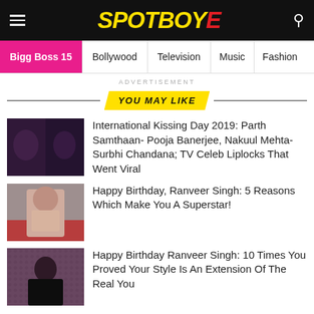SPOTBOYE
Bigg Boss 15 | Bollywood | Television | Music | Fashion
ADVERTISEMENT
YOU MAY LIKE
International Kissing Day 2019: Parth Samthaan- Pooja Banerjee, Nakuul Mehta-Surbhi Chandana; TV Celeb Liplocks That Went Viral
Happy Birthday, Ranveer Singh: 5 Reasons Which Make You A Superstar!
Happy Birthday Ranveer Singh: 10 Times You Proved Your Style Is An Extension Of The Real You